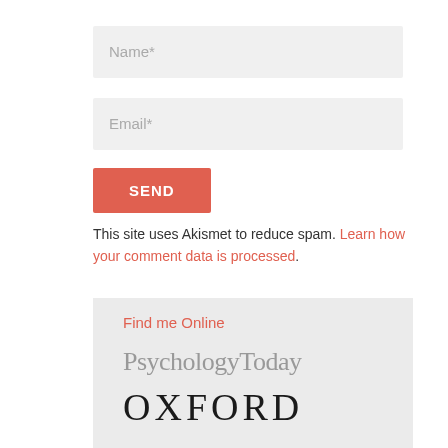Name*
Email*
SEND
This site uses Akismet to reduce spam. Learn how your comment data is processed.
Find me Online
[Figure (logo): Psychology Today logo in gray serif text]
[Figure (logo): OXFORD logo in large black serif text, partially visible]